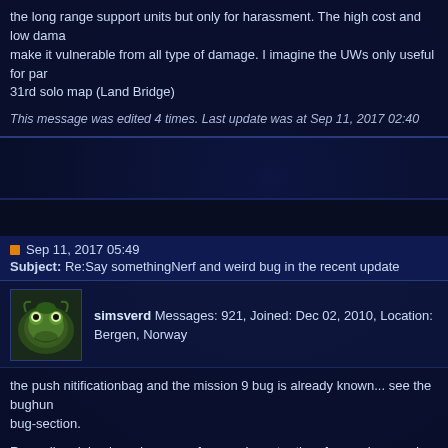the long range support units but only for harassment. The high cost and low damage make it vulnerable from all type of damage. I imagine the UWs only useful for par... 31rd solo map (Land Bridge)
This message was edited 4 times. Last update was at Sep 11, 2017 02:40
Sep 11, 2017 05:49
Subject: Re:​Say something​Nerf and weird bug in the recent update
[Figure (photo): Avatar image of user simsverd - green frog-like creature]
simsverd Messages: 921, Joined: Dec 02, 2010, Location: Bergen, Norway
the push nitificationbag and the mission 9 bug is already known... see the bughun... bug-section.
Regarding doing less dammage from underwater than from submerged state - thi... subs need incentive to ever surface, and they have better "stats" on surface. Bett... range, attackpower are intentionally better on surface.
See the sheet for the current stats.
https://docs.google.com/spreadsheets/d/1SIghcjoE-yfqjpk_oU0bNJkXANzryMIQr... usp=drive_web
Subs are still work in progress. we do changes incrementally, but it will take many... subs are properly balanced.